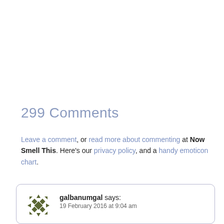299 Comments
Leave a comment, or read more about commenting at Now Smell This. Here's our privacy policy, and a handy emoticon chart.
galbanumgal says:
19 February 2016 at 9:04 am

Not in the mood for Faubourg's baroque opulence